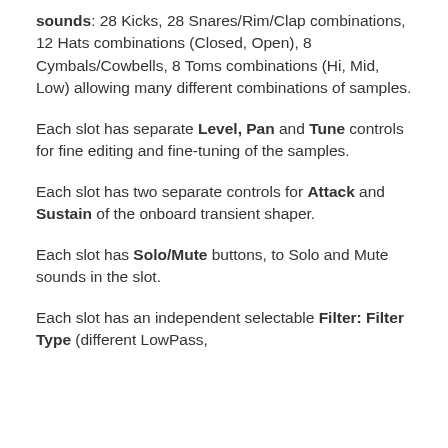sounds: 28 Kicks, 28 Snares/Rim/Clap combinations, 12 Hats combinations (Closed, Open), 8 Cymbals/Cowbells, 8 Toms combinations (Hi, Mid, Low) allowing many different combinations of samples.
Each slot has separate Level, Pan and Tune controls for fine editing and fine-tuning of the samples.
Each slot has two separate controls for Attack and Sustain of the onboard transient shaper.
Each slot has Solo/Mute buttons, to Solo and Mute sounds in the slot.
Each slot has an independent selectable Filter: Filter Type (different LowPass,